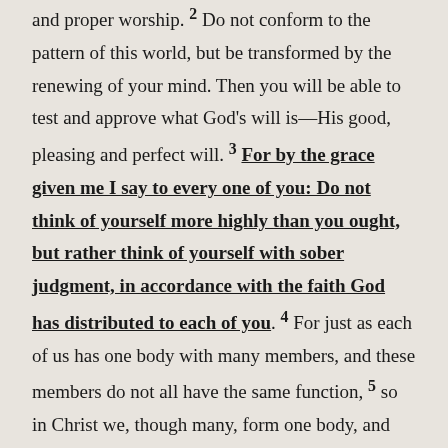and proper worship. 2 Do not conform to the pattern of this world, but be transformed by the renewing of your mind. Then you will be able to test and approve what God's will is—His good, pleasing and perfect will. 3 For by the grace given me I say to every one of you: Do not think of yourself more highly than you ought, but rather think of yourself with sober judgment, in accordance with the faith God has distributed to each of you. 4 For just as each of us has one body with many members, and these members do not all have the same function, 5 so in Christ we, though many, form one body, and each member belongs to all the others. 6 We have different gifts, according to the grace given to each of us. If your gift is prophesying, then prophesy in accordance with the faith; 7 if it is serving, then serve; if it is teaching, then teach; 8 if it is...